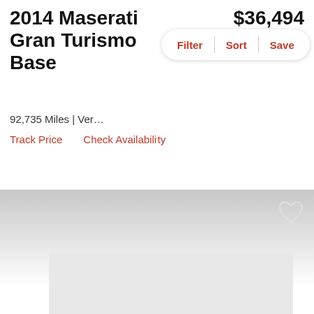2014 Maserati GranTurismo Base
$36,494
est. $526/mo
[Figure (screenshot): Filter, Sort, Save pill-shaped button bar with red text]
92,735 Miles | Ver...
Track Price   Check Availability
[Figure (photo): Gray gradient banner area with a heart/favorite icon in the upper right]
[Figure (photo): Light gray placeholder box at the bottom of the page]